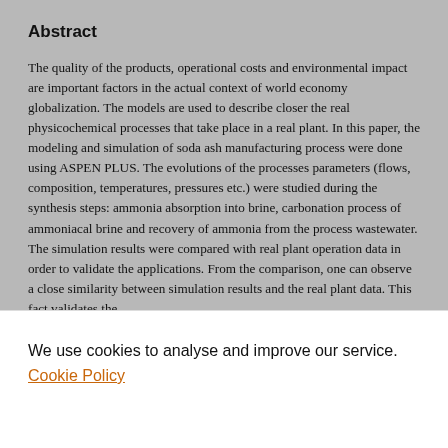Abstract
The quality of the products, operational costs and environmental impact are important factors in the actual context of world economy globalization. The models are used to describe closer the real physicochemical processes that take place in a real plant. In this paper, the modeling and simulation of soda ash manufacturing process were done using ASPEN PLUS. The evolutions of the processes parameters (flows, composition, temperatures, pressures etc.) were studied during the synthesis steps: ammonia absorption into brine, carbonation process of ammoniacal brine and recovery of ammonia from the process wastewater. The simulation results were compared with real plant operation data in order to validate the applications. From the comparison, one can observe a close similarity between simulation results and the real plant data. This fact validates the
We use cookies to analyse and improve our service. Cookie Policy